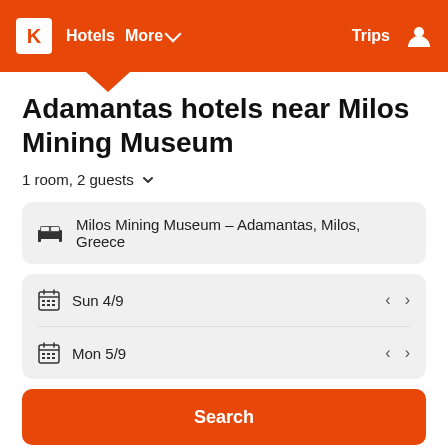K  Hotels  More  Trips
Adamantas hotels near Milos Mining Museum
1 room, 2 guests
Milos Mining Museum – Adamantas, Milos, Greece
Sun 4/9
Mon 5/9
Search